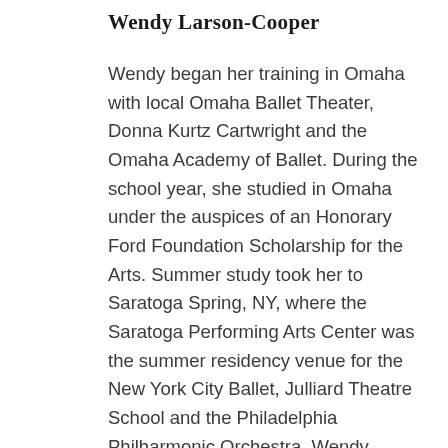Wendy Larson-Cooper
Wendy began her training in Omaha with local Omaha Ballet Theater, Donna Kurtz Cartwright and the Omaha Academy of Ballet.  During the school year, she studied in Omaha under the auspices of an Honorary Ford Foundation Scholarship for the Arts.  Summer study took her to Saratoga Spring, NY, where the Saratoga Performing Arts Center was the summer residency venue for the New York City Ballet, Julliard Theatre School and the Philadelphia Philharmonic Orchestra.  Wendy studied at the Bariansky Saratoga Ballet Center, located on the campus of Skidmore College, with Oleg and Mireille Bariansky, for eight summer sessions, loving and enjoying every minute of performances and training.  Wendy credits that